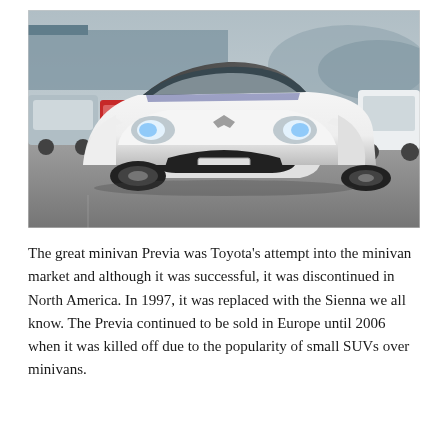[Figure (photo): A white Toyota Previa (Estima) minivan photographed from the front-left angle in a parking lot, with other vehicles and mountains visible in the background.]
The great minivan Previa was Toyota's attempt into the minivan market and although it was successful, it was discontinued in North America. In 1997, it was replaced with the Sienna we all know. The Previa continued to be sold in Europe until 2006 when it was killed off due to the popularity of small SUVs over minivans.